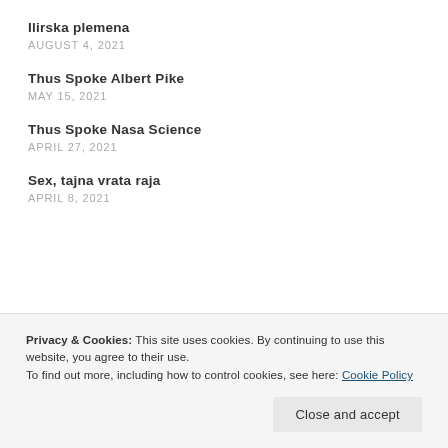Ilirska plemena
AUGUST 4, 2021
Thus Spoke Albert Pike
MAY 15, 2021
Thus Spoke Nasa Science
APRIL 27, 2021
Sex, tajna vrata raja
APRIL 8, 2021
Privacy & Cookies: This site uses cookies. By continuing to use this website, you agree to their use.
To find out more, including how to control cookies, see here: Cookie Policy
Close and accept